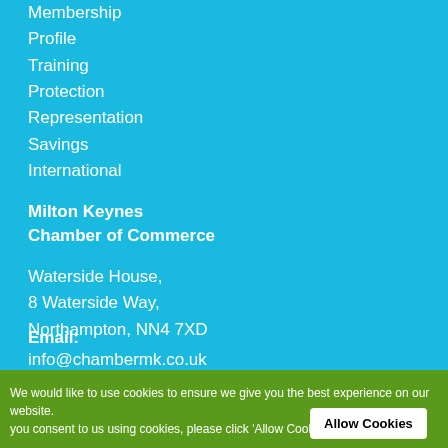Membership
Profile
Training
Protection
Representation
Savings
International
Milton Keynes
Chamber of Commerce
Waterside House,
8 Waterside Way,
Northampton, NN4 7XD
Email:
info@chambermk.co.uk
We would like to use cookies to ensure we give you the best experience on our website. you consent to us using cookies, please click 'Allow Cookies'